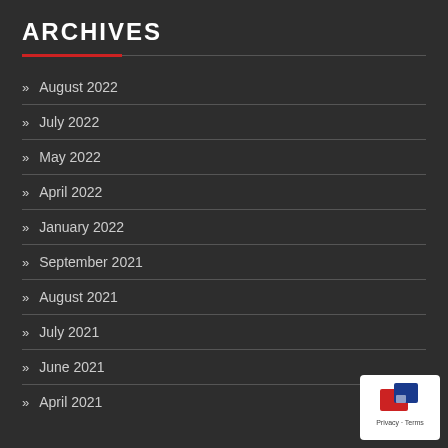ARCHIVES
» August 2022
» July 2022
» May 2022
» April 2022
» January 2022
» September 2021
» August 2021
» July 2021
» June 2021
» April 2021